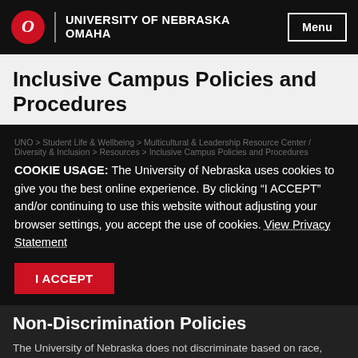UNIVERSITY OF NEBRASKA OMAHA | Menu
Inclusive Campus Policies and Procedures
COOKIE USAGE: The University of Nebraska uses cookies to give you the best online experience. By clicking “I ACCEPT” and/or continuing to use this website without adjusting your browser settings, you accept the use of cookies. View Privacy Statement
I ACCEPT
Non-Discrimination Policies
The University of Nebraska does not discriminate based on race, color, ethnicity, national origin, sex, pregnancy, sexual orientation, gender identity, religion, disability, age, genetic information, veteran status, marital status, and/or political affiliation in its programs, activities, or employment.